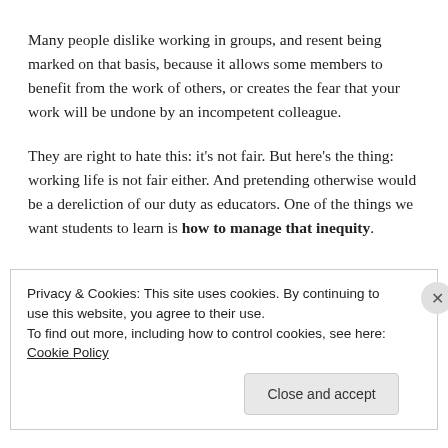Many people dislike working in groups, and resent being marked on that basis, because it allows some members to benefit from the work of others, or creates the fear that your work will be undone by an incompetent colleague.
They are right to hate this: it's not fair. But here's the thing: working life is not fair either. And pretending otherwise would be a dereliction of our duty as educators. One of the things we want students to learn is how to manage that inequity.
Privacy & Cookies: This site uses cookies. By continuing to use this website, you agree to their use.
To find out more, including how to control cookies, see here: Cookie Policy